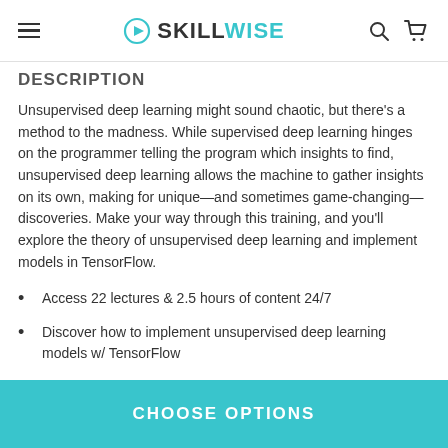SKILLWISE
DESCRIPTION
Unsupervised deep learning might sound chaotic, but there's a method to the madness. While supervised deep learning hinges on the programmer telling the program which insights to find, unsupervised deep learning allows the machine to gather insights on its own, making for unique—and sometimes game-changing—discoveries. Make your way through this training, and you'll explore the theory of unsupervised deep learning and implement models in TensorFlow.
Access 22 lectures & 2.5 hours of content 24/7
Discover how to implement unsupervised deep learning models w/ TensorFlow
Learn the advantages of supervised versus unsupervised deep
CHOOSE OPTIONS